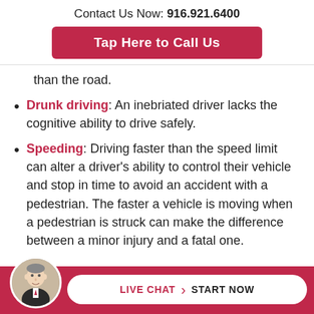Contact Us Now: 916.921.6400
Tap Here to Call Us
than the road.
Drunk driving: An inebriated driver lacks the cognitive ability to drive safely.
Speeding: Driving faster than the speed limit can alter a driver’s ability to control their vehicle and stop in time to avoid an accident with a pedestrian. The faster a vehicle is moving when a pedestrian is struck can make the difference between a minor injury and a fatal one.
LIVE CHAT › START NOW